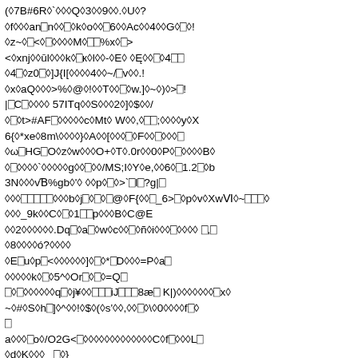(◇7B#6R◇`◇◇◇Q◇3◇◇9◇◇.◇U◇?
◇f◇◇◇an⎕n◇◇⎕◇k◇o◇◇⎕6◇◇Ac◇◇4◇◇G◇⎕◇!
◇z~◇⎕<◇⎕◇◇◇◇M◇⎕⎕%x◇⎕>
<◇xnj◇◇ūl◇◇◇k◇⎕к◇l◇◇-◇E◇ ◇Ę◇◇⎕◇4⎕⎕
◇4⎕◇z0⎕◇]J{I[◇◇◇◇4◇◇~/⎕v◇◇.!
◇x◇aQ◇◇◇>%◇@◇!◇◇T◇◇⎕◇w.]◇~◇)◇>⎕!
|⎕C⎕◇◇◇◇ 57ITq◇◇S◇◇◇2◇]◇$◇◇/
◇⎕◇t>#AF⎕◇◇◇◇◇c◇Mt◇ W◇◇,◇⎕⎕;◇◇◇◇y◇X
6{◇*xe◇8m\◇◇◇◇}◇A◇◇[◇◇◇⎕◇F◇◇⎕◇◇◇⎕
◇ω⎕HG⎕O◇z◇w◇◇◇O+◇T◇.0r◇◇0◇P◇⎕◇◇◇◇B◇
◇⎕◇◇◇◇`◇◇◇◇◇g◇◇⎕◇◇/MS;I◇Y◇e,◇◇6◇⎕1.2⎕◇b
3N◇◇◇vƁ%gb◇'◇ ◇◇p◇⎕◇>`⎕l⎕?g|⎕
◇◇◇⎕⎕⎕⎕⎕◇◇◇b◇j⎕◇⎕◇⎕@◇F{◇◇⎕_6>⎕◇p◇v◇XwⅥ◇~⎕⎕⎕◇
◇◇◇_9k◇◇C◇⎕◇1⎕⎕p◇◇◇B◇C@E
◇◇2◇◇◇◇◇◇.Dq⎕◇a⎕◇w◇c◇◇⎕◇ñ◇i◇◇◇⎕◇◇◇◇ ⎕,⎕
◇8◇◇◇◇ó?◇◇◇◇
◇E⎕u◇p⎕<◇◇◇◇◇◇]◇⎕◇*⎕D◇◇◇=P◇a⎕
◇◇◇◇◇k◇⎕◇5^◇Or⎕◇⎕◇=Q⎕
⎕◇⎕◇◇◇◇◇◇q⎕◇j¥◇◇⎕⎕⎕iJ⎕⎕⎕8æ⎕ K|)◇◇◇◇◇◇◇⎕x◇
~◇#◇S◇h⎕]◇^◇◇!◇$◇(◇s'◇◇,◇◇⎕◇\◇0◇◇◇◇f⎕◇
⎕
a◇◇◇⎕o◇/O2G<⎕◇◇◇◇◇◇◇◇◇◇◇◇◇C◇f⎕◇◇◇L◇
◇d◇K◇◇◇_ ⎕◇}
◇⎕◇Ⱦ◇{◇◇ K◇⎕◇⎕◇⎕◇ ◇l⎕◇◇◇◇!